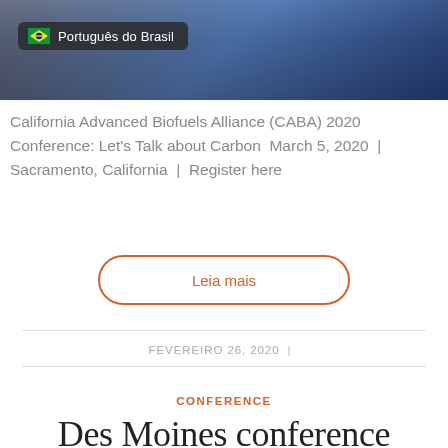[Figure (photo): Photo of a bridge with city skyline at night/dusk, blue tones, with a language selector badge showing Brazilian flag and 'Português do Brasil']
California Advanced Biofuels Alliance (CABA) 2020 Conference: Let's Talk about Carbon  March 5, 2020  |  Sacramento, California  |  Register here
Leia mais
FEVEREIRO 26, 2020
CONFERENCE
Des Moines conference